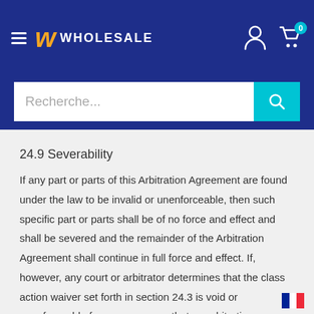W WHOLESALE — navigation header with hamburger menu, logo, account icon, cart icon (0), and search bar (Recherche...)
24.9 Severability
If any part or parts of this Arbitration Agreement are found under the law to be invalid or unenforceable, then such specific part or parts shall be of no force and effect and shall be severed and the remainder of the Arbitration Agreement shall continue in full force and effect. If, however, any court or arbitrator determines that the class action waiver set forth in section 24.3 is void or unenforceable for any reason or that an arbitration can proceed on a class basis, then the arbitration provision set forth in this section 24 shall be deemed null and